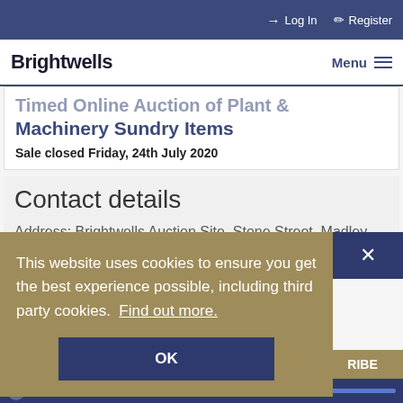Log In  Register
Brightwells  Menu
Timed Online Auction of Plant & Machinery Sundry Items
Sale closed Friday, 24th July 2020
Contact details
Address: Brightwells Auction Site, Stone Street, Madley, Herefordshire, HR2 9NH
This website uses cookies to ensure you get the best experience possible, including third party cookies.  Find out more.
OK